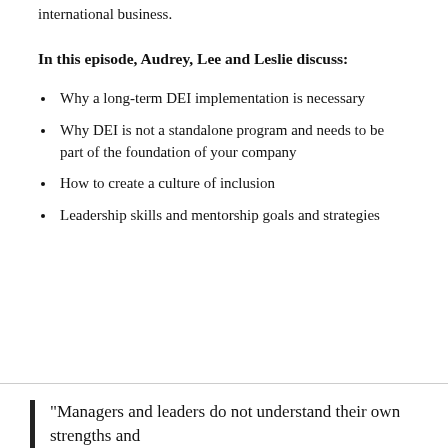Diversity and inclusion in the workplace and international business.
In this episode, Audrey, Lee and Leslie discuss:
Why a long-term DEI implementation is necessary
Why DEI is not a standalone program and needs to be part of the foundation of your company
How to create a culture of inclusion
Leadership skills and mentorship goals and strategies
"Managers and leaders do not understand their own strengths and